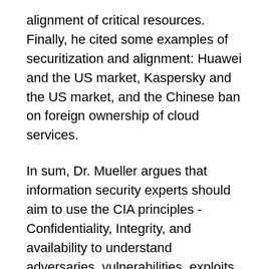alignment of critical resources. Finally, he cited some examples of securitization and alignment: Huawei and the US market, Kaspersky and the US market, and the Chinese ban on foreign ownership of cloud services.
In sum, Dr. Mueller argues that information security experts should aim to use the CIA principles - Confidentiality, Integrity, and availability to understand adversaries, vulnerabilities, exploits and threats.
Rapporteur: Anna Loup